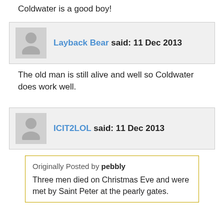Coldwater is a good boy!
Layback Bear said: 11 Dec 2013
The old man is still alive and well so Coldwater does work well.
ICIT2LOL said: 11 Dec 2013
Originally Posted by pebbly
Three men died on Christmas Eve and were met by Saint Peter at the pearly gates.